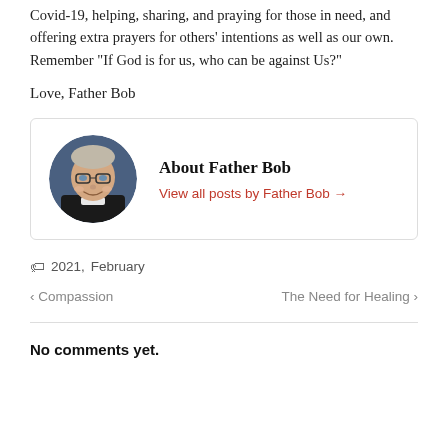Covid-19, helping, sharing, and praying for those in need, and offering extra prayers for others' intentions as well as our own. Remember “If God is for us, who can be against Us?”
Love, Father Bob
[Figure (other): Author bio box with circular headshot photo of Father Bob (older man in clerical collar, smiling, against blue background), his name 'About Father Bob' in handwriting-style font, and a red link 'View all posts by Father Bob →']
🏷 2021,  February
< Compassion    The Need for Healing >
No comments yet.